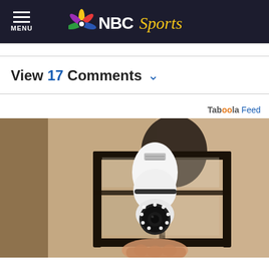MENU | NBC Sports
View 17 Comments
Tab00la Feed
[Figure (photo): A light bulb security camera installed inside a black outdoor wall lantern fixture mounted on a textured stucco wall. A hand is visible at the bottom holding the device.]